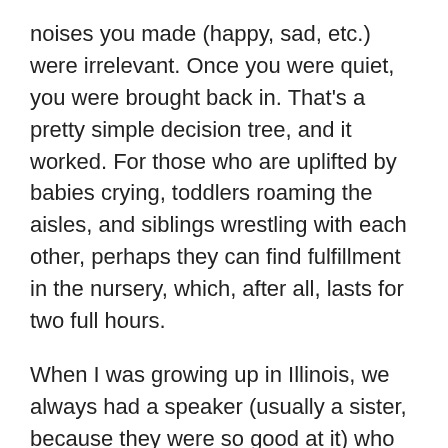noises you made (happy, sad, etc.) were irrelevant. Once you were quiet, you were brought back in. That's a pretty simple decision tree, and it worked. For those who are uplifted by babies crying, toddlers roaming the aisles, and siblings wrestling with each other, perhaps they can find fulfillment in the nursery, which, after all, lasts for two full hours.
When I was growing up in Illinois, we always had a speaker (usually a sister, because they were so good at it) who gave a five minute talk geared towards the children, utilizing Bible and Book of Mormon pictures and other illustrations. The kids were always enraptured by these short discourses—you could a hear a pin drop—and